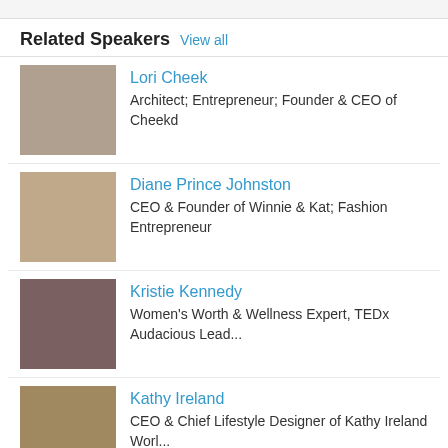Related Speakers View all
Lori Cheek — Architect; Entrepreneur; Founder & CEO of Cheekd
Diane Prince Johnston — CEO & Founder of Winnie & Kat; Fashion Entrepreneur
Kristie Kennedy — Women's Worth & Wellness Expert, TEDx Audacious Lead...
Kathy Ireland — CEO & Chief Lifestyle Designer of Kathy Ireland Worl...
Anna Holmes — Founder and Editor of Online Women's Magazine, Jezeb...